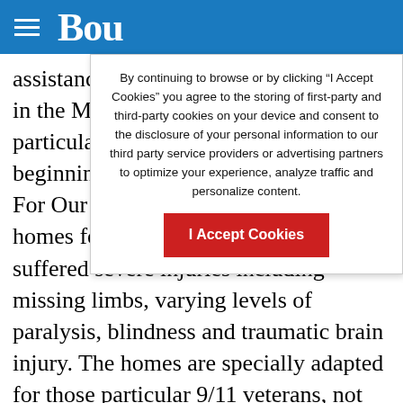Bou
By continuing to browse or by clicking “I Accept Cookies” you agree to the storing of first-party and third-party cookies on your device and consent to the disclosure of your personal information to our third party service providers or advertising partners to optimize your experience, analyze traffic and personalize content.
I Accept Cookies
assistance to in the Middle particularly w beginning to For Our Troops builds mortgage-free homes for qualified veterans who have suffered severe injuries including missing limbs, varying levels of paralysis, blindness and traumatic brain injury. The homes are specially adapted for those particular 9/11 veterans, not only giving them and their families a place to live, but also enabling